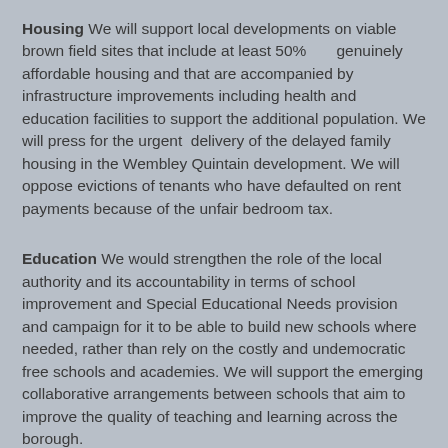Housing We will support local developments on viable brown field sites that include at least 50% genuinely affordable housing and that are accompanied by infrastructure improvements including health and education facilities to support the additional population. We will press for the urgent delivery of the delayed family housing in the Wembley Quintain development. We will oppose evictions of tenants who have defaulted on rent payments because of the unfair bedroom tax.
Education We would strengthen the role of the local authority and its accountability in terms of school improvement and Special Educational Needs provision and campaign for it to be able to build new schools where needed, rather than rely on the costly and undemocratic free schools and academies. We will support the emerging collaborative arrangements between schools that aim to improve the quality of teaching and learning across the borough.